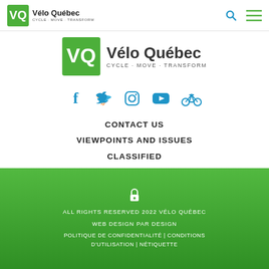Vélo Québec CYCLE · MOVE · TRANSFORM
[Figure (logo): Vélo Québec logo — green VQ square icon with bicycle graphic, text VÉLO QUÉBEC CYCLE · MOVE · TRANSFORM]
[Figure (infographic): Social media icons: Facebook, Twitter, Instagram, YouTube, bicycle icon — all in teal/blue]
CONTACT US
VIEWPOINTS AND ISSUES
CLASSIFIED
EVENTS AND ACTIVITIES
TRAVEL AGENCY
ALL RIGHTS RESERVED 2022 VÉLO QUÉBEC
WEB DESIGN PAR DESIGN
POLITIQUE DE CONFIDENTIALITÉ | CONDITIONS D'UTILISATION | NÉTIQUETTE